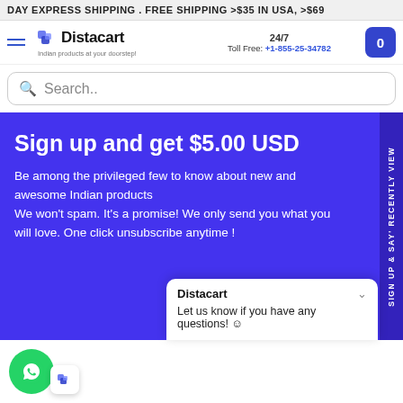DAY EXPRESS SHIPPING . FREE SHIPPING >$35 IN USA, >$69
[Figure (logo): Distacart logo with navigation bar showing hamburger menu, logo, 24/7 toll free number +1-855-25-34782, and cart button]
Search..
Sign up and get $5.00 USD
Be among the privileged few to know about new and awesome Indian products
We won't spam. It's a promise! We only send you what you will love. One click unsubscribe anytime !
Distacart
Let us know if you have any questions! ☺